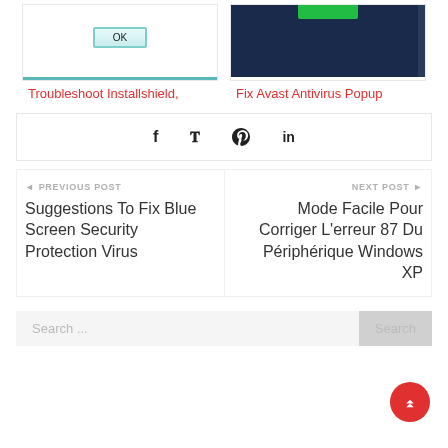[Figure (screenshot): Installshield OK dialog screenshot with teal progress bar]
Troubleshoot Installshield,
[Figure (screenshot): Avast Antivirus popup with dark navy background and green bar at top]
Fix Avast Antivirus Popup
[Figure (infographic): Social share icons: Facebook, Twitter, Pinterest, LinkedIn]
PREVIOUS POST
Suggestions To Fix Blue Screen Security Protection Virus
NEXT POST
Mode Facile Pour Corriger L'erreur 87 Du Périphérique Windows XP
Search ...